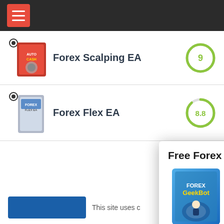Navigation bar with hamburger menu
Forex Scalping EA — Score: 9
Forex Flex EA — Score: 8.8
[Figure (screenshot): Popup overlay: Free Forex Robot sign-up with product box image and Download Now button]
This site uses c…